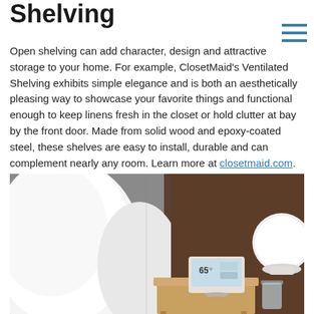Shelving
Open shelving can add character, design and attractive storage to your home. For example, ClosetMaid's Ventilated Shelving exhibits simple elegance and is both an aesthetically pleasing way to showcase your favorite things and functional enough to keep linens fresh in the closet or hold clutter at bay by the front door. Made from solid wood and epoxy-coated steel, these shelves are easy to install, durable and can complement nearly any room. Learn more at closetmaid.com.
[Figure (photo): Bedroom scene with white pillows against a gray headboard, a wooden nightstand with a Google Nest Hub smart display showing temperature 65 degrees, and a round white lamp on the right side against a dark brown wall.]